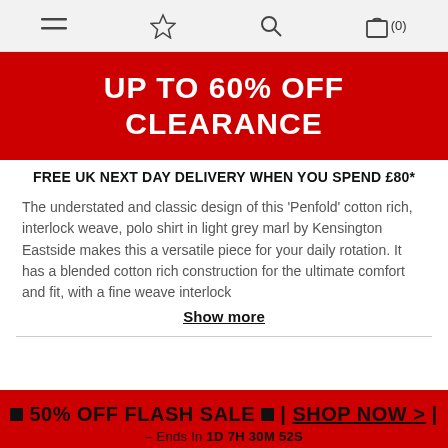Navigation bar with menu, wishlist, search, and bag (0) icons
[Figure (infographic): Red promotional banner with white bold text reading 'UP TO 60% OFF CLEARANCE']
FREE UK NEXT DAY DELIVERY WHEN YOU SPEND £80*
The understated and classic design of this 'Penfold' cotton rich, interlock weave, polo shirt in light grey marl by Kensington Eastside makes this a versatile piece for your daily rotation. It has a blended cotton rich construction for the ultimate comfort and fit, with a fine weave interlock
Show more
🟥 50% OFF FLASH SALE 🟥 | SHOP NOW > | – Ends In 1D 7H 30M 52S